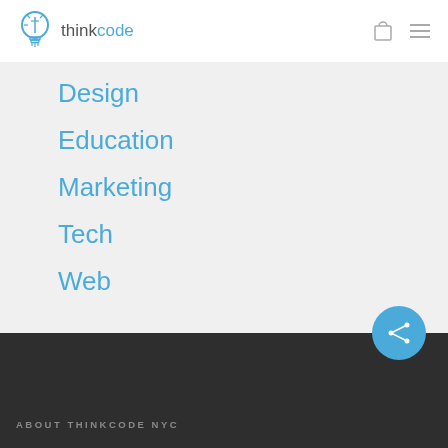[Figure (logo): ThinkCode NYC logo: lightbulb icon with pencil inside, followed by text 'thinkcode' in grey and blue]
Design
Education
Marketing
Tech
Web
ABOUT THINKCODE NYC